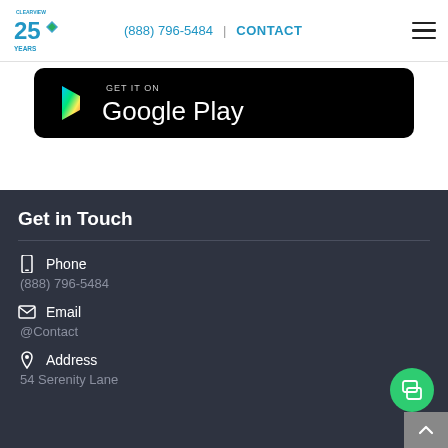Clearview 25 Years | (888) 796-5484 | CONTACT
[Figure (screenshot): Google Play store badge on black rounded rectangle background]
Get in Touch
Phone
(888) 796-5484
Email
@Contact
Address
54 Serenity Lane